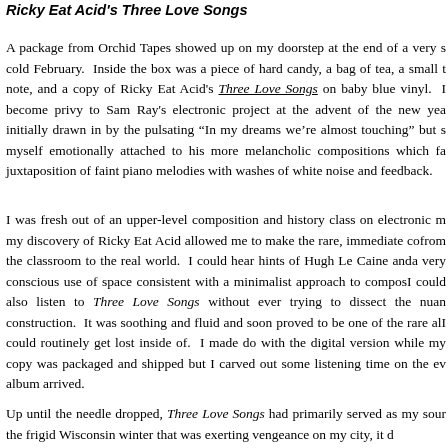Ricky Eat Acid's Three Love Songs
A package from Orchid Tapes showed up on my doorstep at the end of a very s[nowy] cold February.  Inside the box was a piece of hard candy, a bag of tea, a small t[hank you] note, and a copy of Ricky Eat Acid's Three Love Songs on baby blue vinyl.  I [had] become privy to Sam Ray's electronic project at the advent of the new yea[r,] initially drawn in by the pulsating “In my dreams we’re almost touching” but s[oon found] myself emotionally attached to his more melancholic compositions which fa[vored the] juxtaposition of faint piano melodies with washes of white noise and feedback.
I was fresh out of an upper-level composition and history class on electronic m[usic, and] my discovery of Ricky Eat Acid allowed me to make the rare, immediate co[nnection] from the classroom to the real world.  I could hear hints of Hugh Le Caine and [there was] a very conscious use of space consistent with a minimalist approach to compos[ition.  But] I could also listen to Three Love Songs without ever trying to dissect the nuan[ces of its] construction.  It was soothing and fluid and soon proved to be one of the rare alb[ums that] I could routinely get lost inside of.  I made do with the digital version while my [physical] copy was packaged and shipped but I carved out some listening time on the ev[ening the] album arrived.
Up until the needle dropped, Three Love Songs had primarily served as my sour[ce through] the frigid Wisconsin winter that was exerting vengeance on my city, it d[id...]